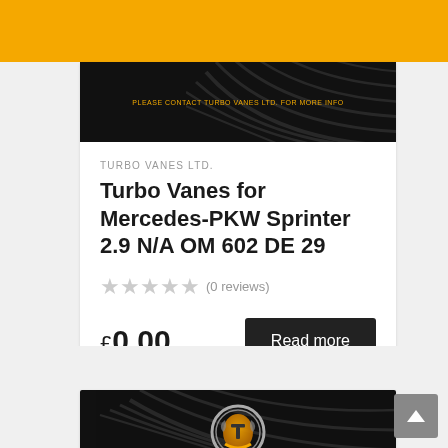[Figure (screenshot): Yellow navigation/header bar at top of e-commerce webpage]
[Figure (photo): Dark product image with tyre texture and notice text overlay for first product card]
TURBO VANES LTD.
Turbo Vanes for Mercedes-PKW Sprinter 2.9 N/A OM 602 DE 29
(0 reviews)
£0.00
Read more
[Figure (logo): Second product card partially visible at bottom with Turbo Vanes logo on dark tyre background]